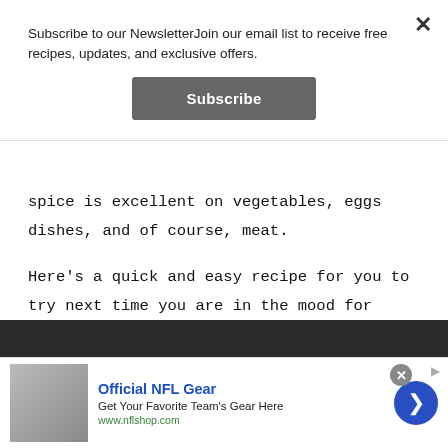Subscribe to our NewsletterJoin our email list to receive free recipes, updates, and exclusive offers.
Subscribe
spice is excellent on vegetables, eggs dishes, and of course, meat.
Here’s a quick and easy recipe for you to try next time you are in the mood for Sauteed Baby Bok Choy.
[Figure (photo): Partial photo of food (bok choy dish) visible at bottom of page]
Official NFL Gear
Get Your Favorite Team’s Gear Here
www.nflshop.com